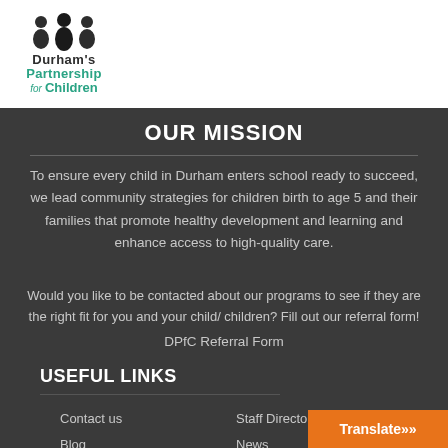[Figure (logo): Durham's Partnership for Children logo with three silhouetted figures and teal text]
[Figure (other): Social media icons: Facebook, Twitter, YouTube, Instagram in gray circles; donate icon in orange; hamburger menu in teal]
OUR MISSION
To ensure every child in Durham enters school ready to succeed, we lead community strategies for children birth to age 5 and their families that promote healthy development and learning and enhance access to high-quality care.
Would you like to be contacted about our programs to see if they are the right fit for you and your child/ children? Fill out our referral form!
DPfC Referral Form
USEFUL LINKS
Contact us
Staff Directory
Blog
News
Volunteer
Donate
Translate »